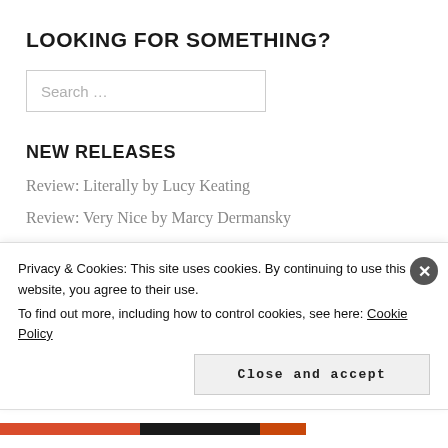LOOKING FOR SOMETHING?
[Figure (other): Search input box with placeholder text 'Search ...']
NEW RELEASES
Review: Literally by Lucy Keating
Review: Very Nice by Marcy Dermansky
Review: Conversations with Friends by Sally Rooney
Privacy & Cookies: This site uses cookies. By continuing to use this website, you agree to their use. To find out more, including how to control cookies, see here: Cookie Policy
Close and accept